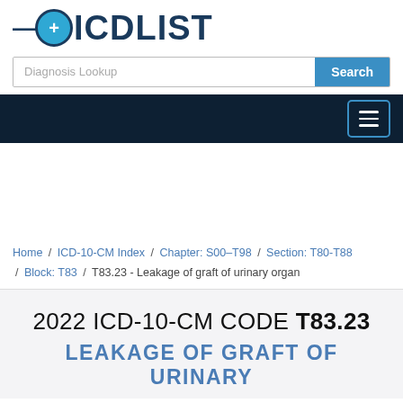—⊕ICDLIST
Diagnosis Lookup | Search
Home / ICD-10-CM Index / Chapter: S00–T98 / Section: T80-T88 / Block: T83 / T83.23 - Leakage of graft of urinary organ
2022 ICD-10-CM CODE T83.23
LEAKAGE OF GRAFT OF URINARY